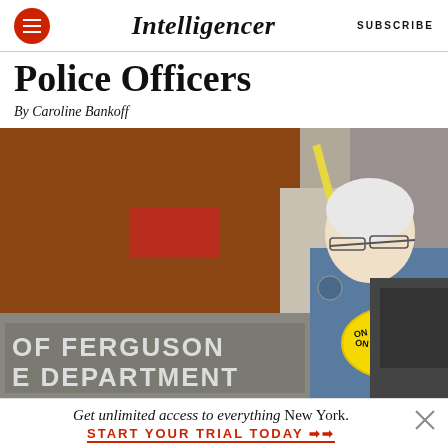Intelligencer | SUBSCRIBE
Police Officers
By Caroline Bankoff
[Figure (photo): A police officer in blue uniform holding yellow crime scene tape stands in front of a sign reading 'OF FERGUSON' and 'E DEPARTMENT', with a brick building in the background.]
Get unlimited access to everything New York.
START YOUR TRIAL TODAY ➤➤